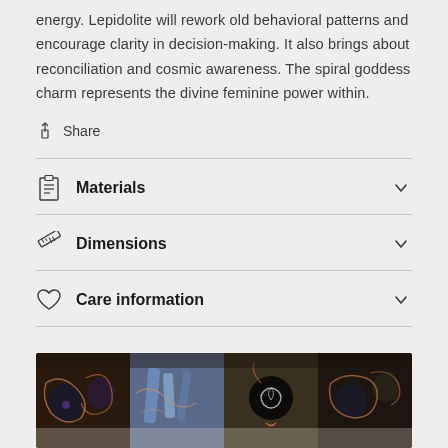energy. Lepidolite will rework old behavioral patterns and encourage clarity in decision-making. It also brings about reconciliation and cosmic awareness. The spiral goddess charm represents the divine feminine power within.
Share
Materials
Dimensions
Care information
[Figure (photo): Photo strip showing wire-wrapped crystal jewelry pieces with copper wire, dark stones, blue crystals, and a black pendant with spiral design on a fuzzy white background.]